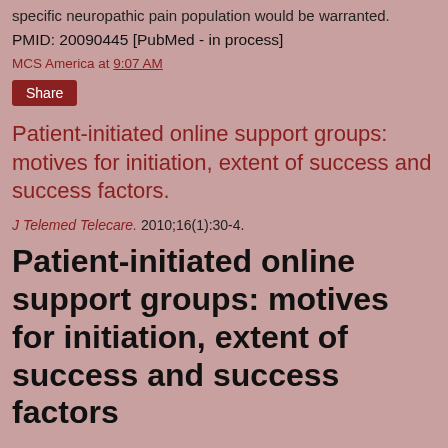specific neuropathic pain population would be warranted.
PMID: 20090445 [PubMed - in process]
MCS America at 9:07 AM
Share
Patient-initiated online support groups: motives for initiation, extent of success and success factors.
J Telemed Telecare. 2010;16(1):30-4.
Patient-initiated online support groups: motives for initiation, extent of success and success factors